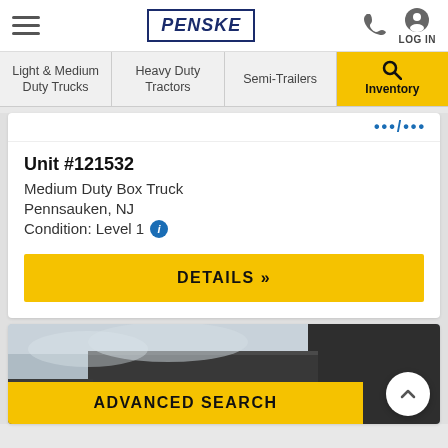PENSKE
Light & Medium Duty Trucks | Heavy Duty Tractors | Semi-Trailers | Inventory Search
••• /•••
Unit #121532
Medium Duty Box Truck
Pennsauken, NJ
Condition: Level 1
DETAILS »
[Figure (photo): Exterior of a commercial/industrial building with dark siding, photographed against an overcast sky]
ADVANCED SEARCH